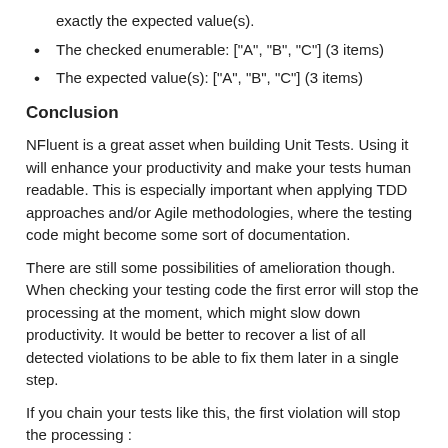exactly the expected value(s).
The checked enumerable: ["A", "B", "C"] (3 items)
The expected value(s): ["A", "B", "C"] (3 items)
Conclusion
NFluent is a great asset when building Unit Tests. Using it will enhance your productivity and make your tests human readable. This is especially important when applying TDD approaches and/or Agile methodologies, where the testing code might become some sort of documentation.
There are still some possibilities of amelioration though. When checking your testing code the first error will stop the processing at the moment, which might slow down productivity. It would be better to recover a list of all detected violations to be able to fix them later in a single step.
If you chain your tests like this, the first violation will stop the processing :
[Figure (screenshot): Code snippet: var name = "Jason De Oliveira";]